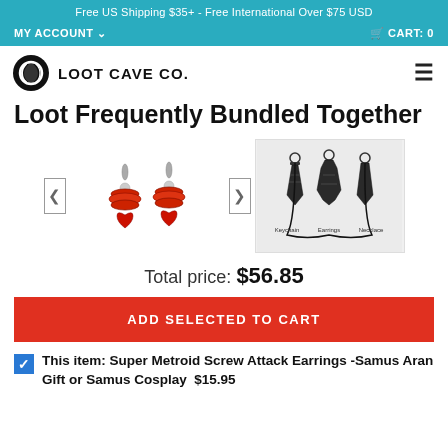Free US Shipping $35+ - Free International Over $75 USD
MY ACCOUNT   CART: 0
[Figure (logo): Loot Cave Co. logo with circular icon and bold uppercase text]
Loot Frequently Bundled Together
[Figure (photo): Two product images: Super Metroid Screw Attack Earrings (red stud earrings) and a dark metal keychain/pendant/necklace set]
Total price: $56.85
ADD SELECTED TO CART
This item: Super Metroid Screw Attack Earrings -Samus Aran Gift or Samus Cosplay  $15.95